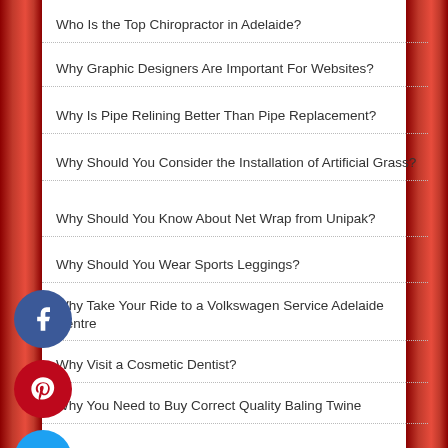Who Is the Top Chiropractor in Adelaide?
Why Graphic Designers Are Important For Websites?
Why Is Pipe Relining Better Than Pipe Replacement?
Why Should You Consider the Installation of Artificial Grass?
Why Should You Know About Net Wrap from Unipak?
Why Should You Wear Sports Leggings?
Why Take Your Ride to a Volkswagen Service Adelaide Centre
Why Visit a Cosmetic Dentist?
Why You Need to Buy Correct Quality Baling Twine
Why You Should Install Synthetic Grass
Why You Should Use Industrial Cleaning Services